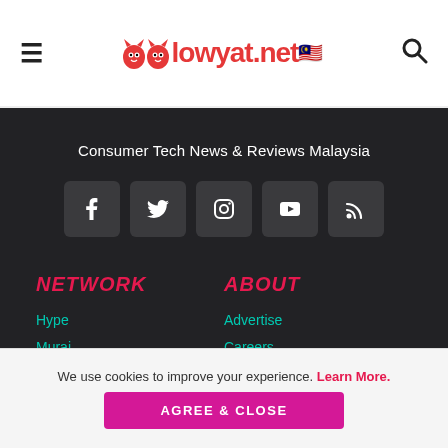lowyat.net
Consumer Tech News & Reviews Malaysia
[Figure (infographic): Social media icon buttons: Facebook, Twitter, Instagram, YouTube, RSS]
NETWORK
ABOUT
Hype
Murai
Lipstiq
Advertise
Careers
Privacy Statement
We use cookies to improve your experience. Learn More.
AGREE & CLOSE